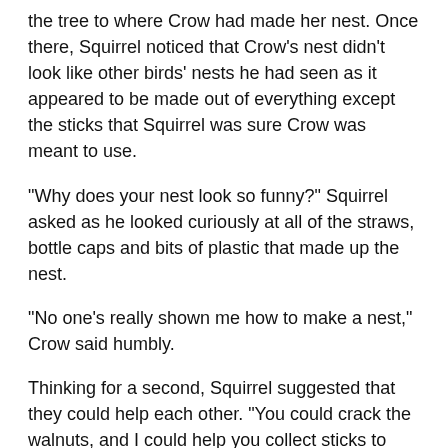the tree to where Crow had made her nest. Once there, Squirrel noticed that Crow's nest didn't look like other birds' nests he had seen as it appeared to be made out of everything except the sticks that Squirrel was sure Crow was meant to use.
“Why does your nest look so funny?” Squirrel asked as he looked curiously at all of the straws, bottle caps and bits of plastic that made up the nest.
“No one’s really shown me how to make a nest,” Crow said humbly.
Thinking for a second, Squirrel suggested that they could help each other. “You could crack the walnuts, and I could help you collect sticks to make a nest.” Crow was hesitant at first as no one had ever offered to help her before. In the end, she